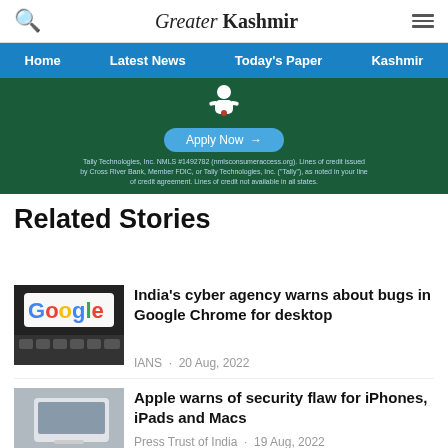Greater Kashmir
[Figure (screenshot): Navigation bar with Home, Latest News, Today's Paper, Kashmir links on blue background]
[Figure (infographic): Advertisement banner with dark green background, cartoon figure, Apply Now button, and Tally Technologies disclaimer text]
Related Stories
[Figure (photo): Google logo on a keyboard thumbnail image]
India's cyber agency warns about bugs in Google Chrome for desktop
IANS · 20 Aug, 2022
[Figure (photo): Tablet/phone device thumbnail image]
Apple warns of security flaw for iPhones, iPads and Macs
Press Trust of India · 19 Aug, 2022